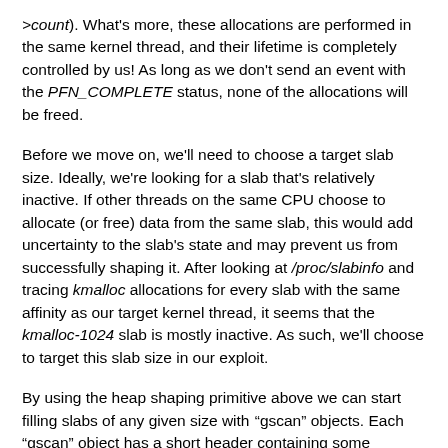>count). What's more, these allocations are performed in the same kernel thread, and their lifetime is completely controlled by us! As long as we don't send an event with the PFN_COMPLETE status, none of the allocations will be freed.
Before we move on, we'll need to choose a target slab size. Ideally, we're looking for a slab that's relatively inactive. If other threads on the same CPU choose to allocate (or free) data from the same slab, this would add uncertainty to the slab's state and may prevent us from successfully shaping it. After looking at /proc/slabinfo and tracing kmalloc allocations for every slab with the same affinity as our target kernel thread, it seems that the kmalloc-1024 slab is mostly inactive. As such, we'll choose to target this slab size in our exploit.
By using the heap shaping primitive above we can start filling slabs of any given size with “gscan” objects. Each “gscan” object has a short header containing some metadata relating to the scan and a pointer to the next element in the linked list. The rest of the object is then populated by an inline array of “scan results”, carrying the actual data for this node.